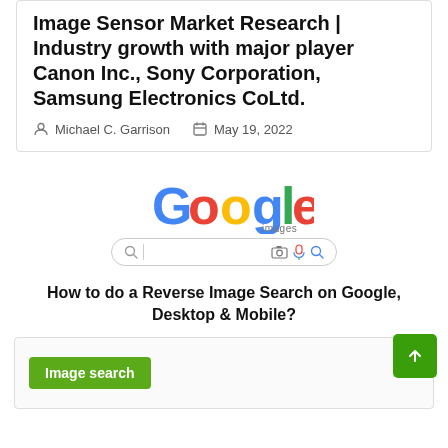Image Sensor Market Research | Industry growth with major player Canon Inc., Sony Corporation, Samsung Electronics CoLtd.
Michael C. Garrison   May 19, 2022
[Figure (screenshot): Google Images logo with search bar showing search icons (camera, microphone, search)]
How to do a Reverse Image Search on Google, Desktop & Mobile?
[Figure (screenshot): Bottom card with green 'Image search' button on left and green scroll-to-top button on right]